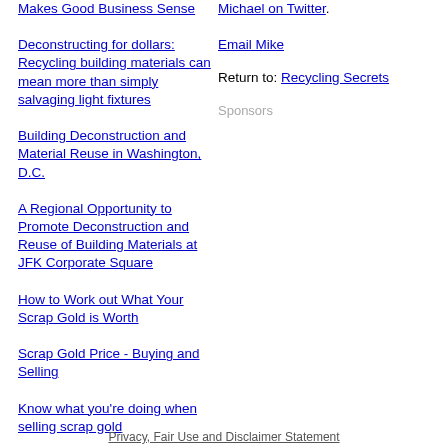Makes Good Business Sense
Deconstructing for dollars: Recycling building materials can mean more than simply salvaging light fixtures
Building Deconstruction and Material Reuse in Washington, D.C.
A Regional Opportunity to Promote Deconstruction and Reuse of Building Materials at JFK Corporate Square
How to Work out What Your Scrap Gold is Worth
Scrap Gold Price - Buying and Selling
Know what you're doing when selling scrap gold
How to Calculate the Value of Scrap Gold
Michael on Twitter.
Email Mike
Return to: Recycling Secrets
Sponsors
Privacy, Fair Use and Disclaimer Statement